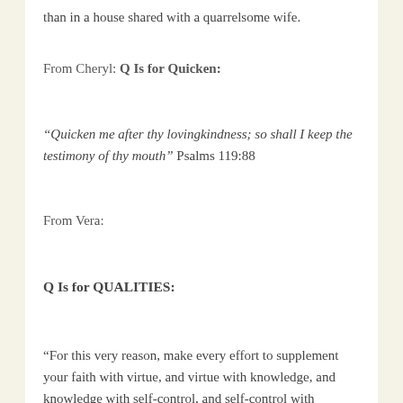than in a house shared with a quarrelsome wife.
From Cheryl: Q Is for Quicken:
“Quicken me after thy lovingkindness; so shall I keep the testimony of thy mouth” Psalms 119:88
From Vera:
Q Is for QUALITIES:
“For this very reason, make every effort to supplement your faith with virtue, and virtue with knowledge, and knowledge with self-control, and self-control with steadfastness, and steadfastness with godliness, and godliness with brotherly affection, and brotherly affection with love. For if these